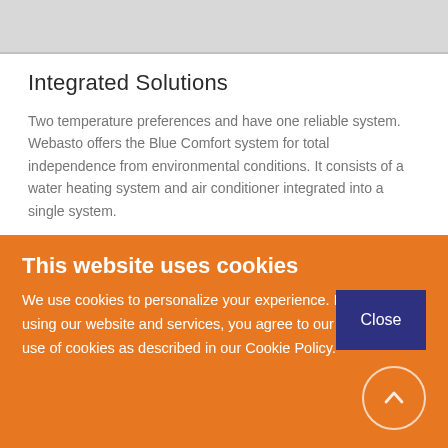[Figure (photo): Partial image at top of page, gray/white gradient background, cropped]
Integrated Solutions
Two temperature preferences and have one reliable system. Webasto offers the Blue Comfort system for total independence from environmental conditions. It consists of a water heating system and air conditioner integrated into a single system.
More about Integrated Solutions
This website uses cookies
We use cookies to personalize your experience. By using our website and services, you agree to our use of cookies as described in our Cookie Policy.